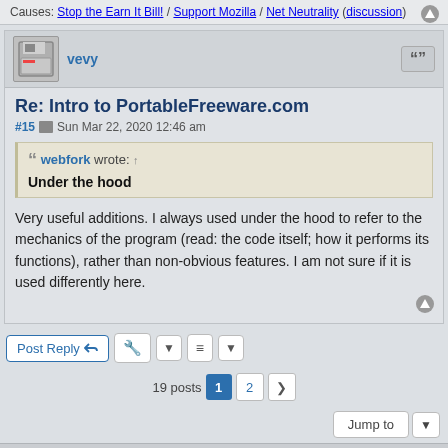Causes: Stop the Earn It Bill! / Support Mozilla / Net Neutrality (discussion)
Re: Intro to PortableFreeware.com
#15  Sun Mar 22, 2020 12:46 am
webfork wrote: ↑
Under the hood
Very useful additions. I always used under the hood to refer to the mechanics of the program (read: the code itself; how it performs its functions), rather than non-obvious features. I am not sure if it is used differently here.
Home  Board Index  |  Delete cookies  All times are UTC-06:00